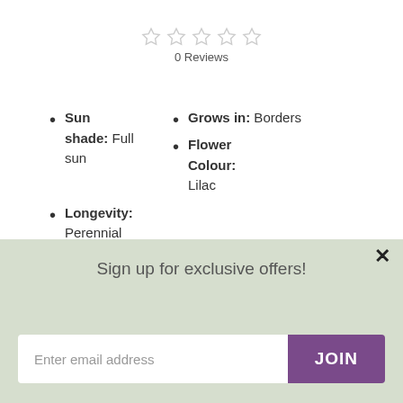[Figure (other): Five empty star rating icons]
0 Reviews
Sun shade: Full sun
Grows in: Borders
Flower Colour: Lilac
Longevity: Perennial
[Figure (photo): Garden photo showing purple verbena flowers and bright green foliage]
Sign up for exclusive offers!
Enter email address
JOIN